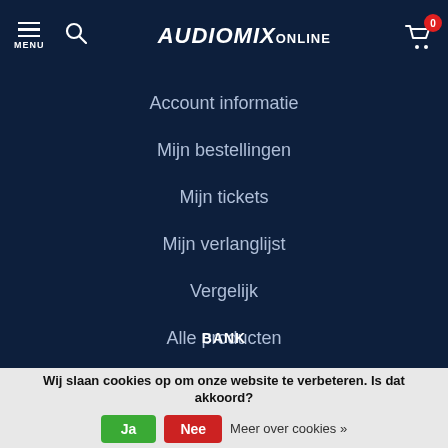AUDIOMIX ONLINE — Menu, Search, Cart (0)
Account informatie
Mijn bestellingen
Mijn tickets
Mijn verlanglijst
Vergelijk
Alle producten
BANK
© Copyright 2022 Audiomix - Powered by Lightspeed - Lightspeed design
Wij slaan cookies op om onze website te verbeteren. Is dat akkoord? Ja Nee Meer over cookies »